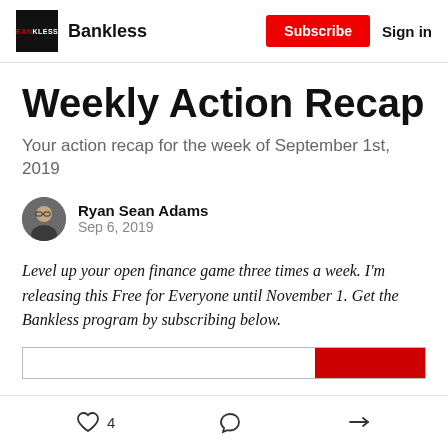Bankless | Subscribe | Sign in
Weekly Action Recap
Your action recap for the week of September 1st, 2019
Ryan Sean Adams
Sep 6, 2019
Level up your open finance game three times a week. I'm releasing this Free for Everyone until November 1. Get the Bankless program by subscribing below.